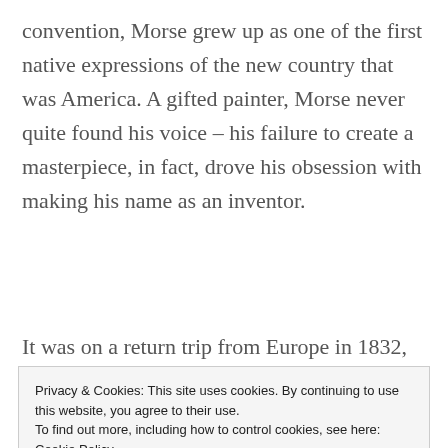convention, Morse grew up as one of the first native expressions of the new country that was America. A gifted painter, Morse never quite found his voice – his failure to create a masterpiece, in fact, drove his obsession with making his name as an inventor.
It was on a return trip from Europe in 1832,
Privacy & Cookies: This site uses cookies. By continuing to use this website, you agree to their use.
To find out more, including how to control cookies, see here: Cookie Policy
Close and accept
...tfficiant and confal of frama and aiving d...